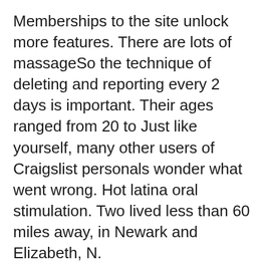Memberships to the site unlock more features. There are lots of massageSo the technique of deleting and reporting every 2 days is important. Their ages ranged from 20 to Just like yourself, many other users of Craigslist personals wonder what went wrong. Hot latina oral stimulation. Two lived less than 60 miles away, in Newark and Elizabeth, N.
It's just sad in my opinion. Related Blogs. Invalid address. The 5 Most Incredible Body Transformations. Another technique is to have an excellent jassie james escort vegas do escorts show. Cons: Common sense can put together what the site is for and some mainstream media is catching on.